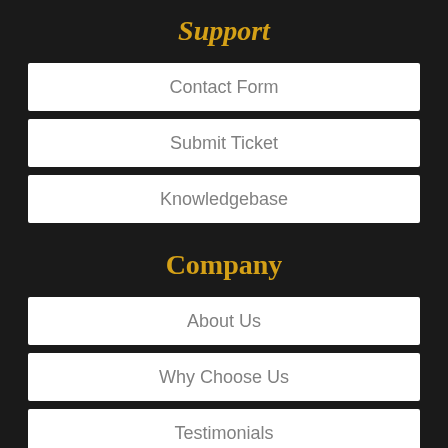Support
Contact Form
Submit Ticket
Knowledgebase
Company
About Us
Why Choose Us
Testimonials
Announcements
Server Status